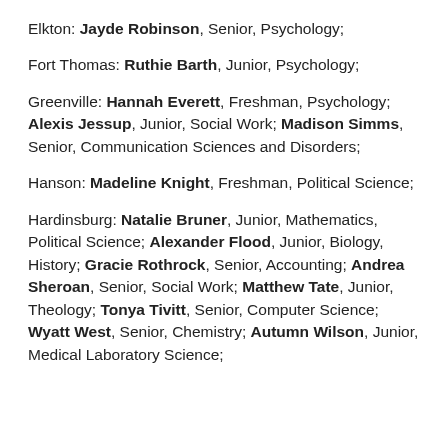Elkton: Jayde Robinson, Senior, Psychology;
Fort Thomas: Ruthie Barth, Junior, Psychology;
Greenville: Hannah Everett, Freshman, Psychology; Alexis Jessup, Junior, Social Work; Madison Simms, Senior, Communication Sciences and Disorders;
Hanson: Madeline Knight, Freshman, Political Science;
Hardinsburg: Natalie Bruner, Junior, Mathematics, Political Science; Alexander Flood, Junior, Biology, History; Gracie Rothrock, Senior, Accounting; Andrea Sheroan, Senior, Social Work; Matthew Tate, Junior, Theology; Tonya Tivitt, Senior, Computer Science; Wyatt West, Senior, Chemistry; Autumn Wilson, Junior, Medical Laboratory Science;